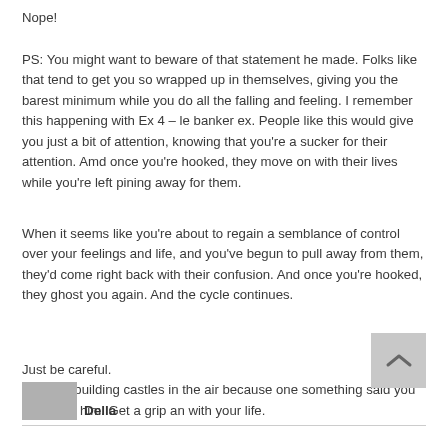Nope!
PS: You might want to beware of that statement he made. Folks like that tend to get you so wrapped up in themselves, giving you the barest minimum while you do all the falling and feeling. I remember this happening with Ex 4 – le banker ex. People like this would give you just a bit of attention, knowing that you're a sucker for their attention. Amd once you're hooked, they move on with their lives while you're left pining away for them.
When it seems like you're about to regain a semblance of control over your feelings and life, and you've begun to pull away from them, they'd come right back with their confusion. And once you're hooked, they ghost you again. And the cycle continues.
Just be careful.
Don't go building castles in the air because one something said you belong to him. Get a grip an with your life.
Della